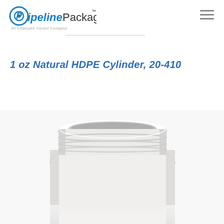[Figure (logo): Pipeline Packaging logo with circular P icon in blue and 'Pipeline Packaging' text with trademark symbol]
An Employee Owned Company
1 oz Natural HDPE Cylinder, 20-410
[Figure (photo): Close-up top view of a white HDPE cylindrical container with threaded neck, shot against white background]